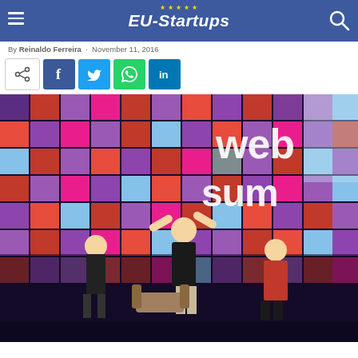EU-Startups
By Reinaldo Ferreira · November 11, 2016
[Figure (screenshot): Social sharing buttons: share icon, Facebook, Twitter, WhatsApp, LinkedIn]
[Figure (photo): Web Summit stage photo with people celebrating on stage in front of a colorful pixel-art backdrop with 'web summit' branding]